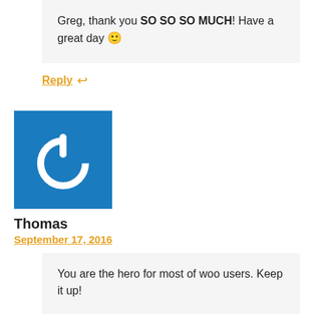Greg, thank you SO SO SO MUCH! Have a great day 🙂
Reply ↩
[Figure (logo): Blue square avatar with white power button icon]
Thomas
September 17, 2016
You are the hero for most of woo users. Keep it up!